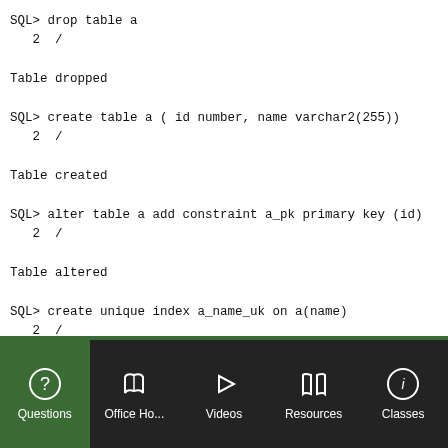SQL> drop table a
   2  /

Table dropped

SQL> create table a ( id number, name varchar2(255))
   2  /

Table created

SQL> alter table a add constraint a_pk primary key (id)
   2  /

Table altered

SQL> create unique index a_name_uk on a(name)
   2  /

Index created

SQL> drop table b
   2  /
Questions  Office Ho...  Videos  Resources  Classes